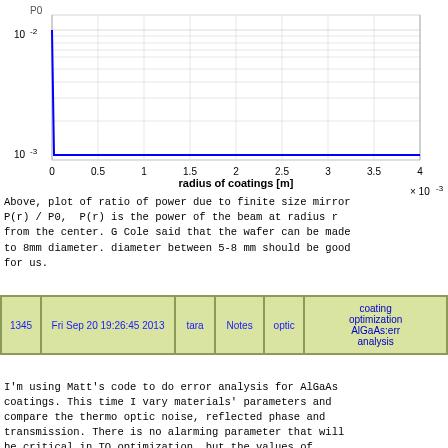[Figure (continuous-plot): Semi-log plot of ratio of power P(r)/P0 vs radius of coatings [m], x-axis from 0 to 4 x 10^-3, y-axis log scale from 10^-3 to 10^-2, showing a curve that drops steeply near radius 0.]
Above, plot of ratio of power due to finite size mirror P(r) / P0, P(r) is the power of the beam at radius r from the center. G Cole said that the wafer can be made to 8mm diameter. diameter between 5-8 mm should be good for us.
| 1345 | Fri Sep 20 19:26:45 2013 | tara | Notes | optic | coating optimization AlGaAs:err analysis |
| --- | --- | --- | --- | --- | --- |
I'm using Matt's code to do error analysis for AlGaAs coatings. This time I vary materials' parameters and compare the thermo optic noise, reflected phase and transmission. There is no alarming parameter that will be critical in TO optimization, but the values of refractive indices will change the transmission considerably.

Eric, Matt and I discussed about this to make sure that even with the errors in some parameters, the optimization will still work.